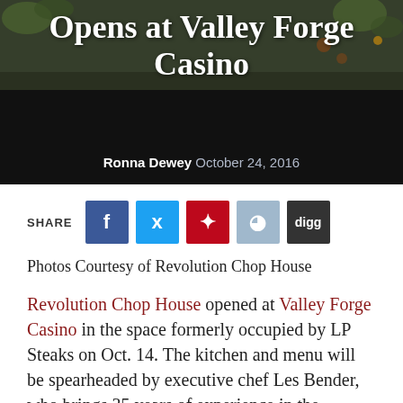[Figure (photo): Dark moody background image of food/salad with dark overlay, serving as header background]
Opens at Valley Forge Casino
Ronna Dewey October 24, 2016
[Figure (infographic): Social media share buttons: Facebook, Twitter, Pinterest, Reddit, Digg]
Photos Courtesy of Revolution Chop House
Revolution Chop House opened at Valley Forge Casino in the space formerly occupied by LP Steaks on Oct. 14. The kitchen and menu will be spearheaded by executive chef Les Bender, who brings 35 years of experience in the culinary